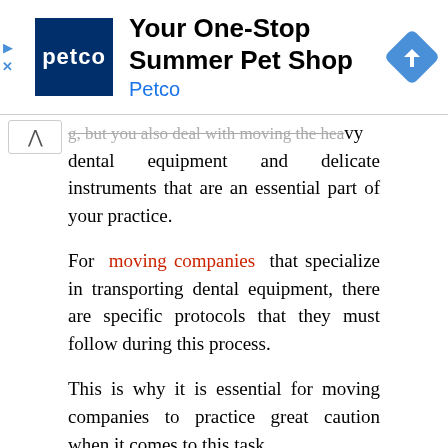[Figure (screenshot): Petco advertisement banner: 'Your One-Stop Summer Pet Shop' with Petco logo and navigation arrow diamond icon]
g, but you also deal with moving the heavy dental equipment and delicate instruments that are an essential part of your practice.
For moving companies that specialize in transporting dental equipment, there are specific protocols that they must follow during this process.
This is why it is essential for moving companies to practice great caution when it comes to this task.
Improper handling and storage of equipment puts patients at risk for infections and